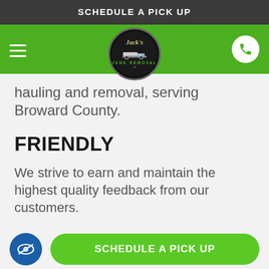SCHEDULE A PICK UP
[Figure (logo): Jack's Junk Removal logo — circular badge with truck illustration on dark background with green and gold text]
hauling and removal, serving Broward County.
FRIENDLY
We strive to earn and maintain the highest quality feedback from our customers.
[Figure (other): Blue circle with eye-with-slash icon (accessibility/hide icon) and green rounded button labeled SCHEDULE A PICK UP]